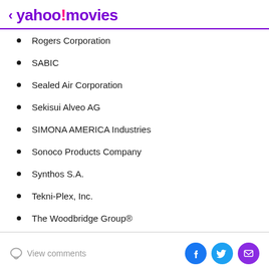< yahoo!movies
Rogers Corporation
SABIC
Sealed Air Corporation
Sekisui Alveo AG
SIMONA AMERICA Industries
Sonoco Products Company
Synthos S.A.
Tekni-Plex, Inc.
The Woodbridge Group®
View comments